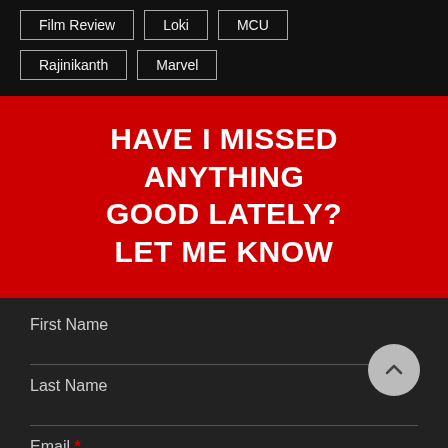Film Review
Loki
MCU
Rajinikanth
Marvel
HAVE I MISSED ANYTHING GOOD LATELY? LET ME KNOW
First Name
Last Name
Email *